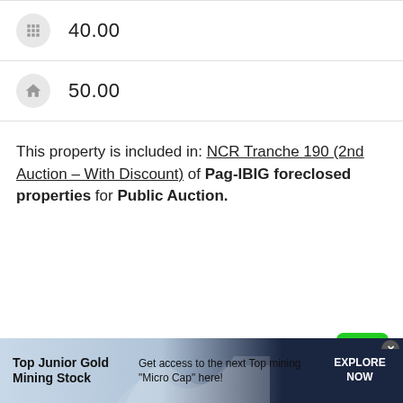40.00
50.00
This property is included in: NCR Tranche 190 (2nd Auction – With Discount) of Pag-IBIG foreclosed properties for Public Auction.
[Figure (other): Green share button with plus icon and SHARE label]
[Figure (other): Advertisement banner: Top Junior Gold Mining Stock - Get access to the next Top mining Micro Cap here! EXPLORE NOW]